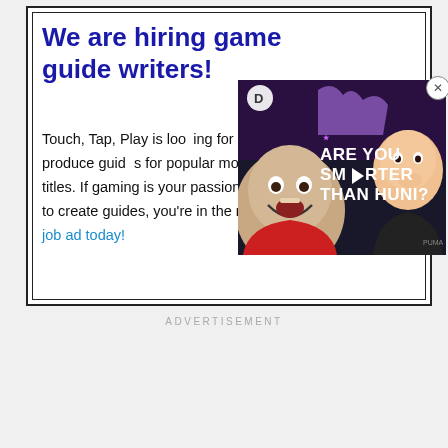We are hiring game guide writers!
Touch, Tap, Play is looking for experienced writers to produce guides for popular mobile and Nintendo Switch titles. If gaming is your passion and you want to get paid to create guides, you’re in the right place. Check out our job ad today!
[Figure (screenshot): Advertisement overlay showing two people with text 'ARE YOU SMARTER THAN HUNI?' on a dark gaming background, with a circular D logo icon and a close (X) button]
ADVERTISEMENT